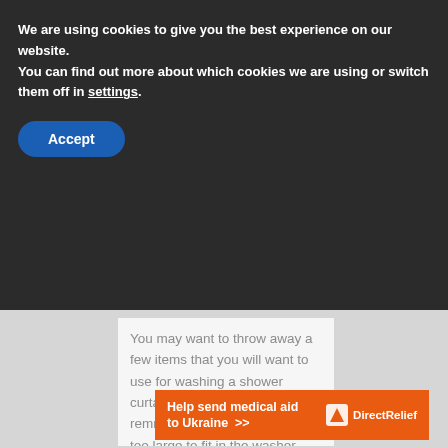We are using cookies to give you the best experience on our website.
You can find out more about which cookies we are using or switch them off in settings.
Accept
You may want to throw away a few items that you will want to use for washing a shower curtain. These are usually remnants of the fabric that are too large to fit in the washer, and they may end up falling apart after you wash them. You may also not want to
[Figure (screenshot): Orange Direct Relief advertisement banner: 'Help send medical aid to Ukraine >>' with Direct Relief logo on the right]